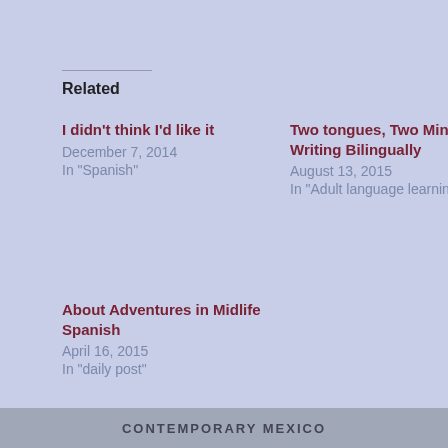Related
I didn't think I'd like it
December 7, 2014
In "Spanish"
Two tongues, Two Minds – Writing Bilingually
August 13, 2015
In "Adult language learning"
About Adventures in Midlife Spanish
April 16, 2015
In "daily post"
Adult language learning, daily post, Mexican culture and traditions, Spanish
CONTEMPORARY MEXICO